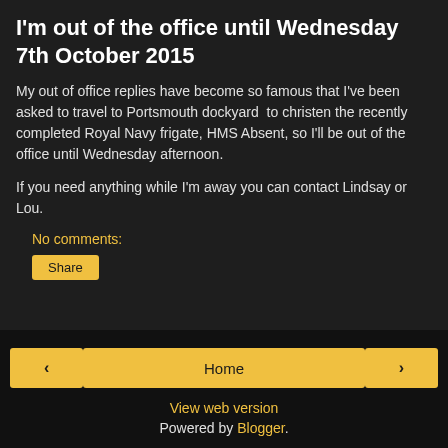I'm out of the office until Wednesday 7th October 2015
My out of office replies have become so famous that I've been asked to travel to Portsmouth dockyard  to christen the recently completed Royal Navy frigate, HMS Absent, so I'll be out of the office until Wednesday afternoon.
If you need anything while I'm away you can contact Lindsay or Lou.
No comments:
Share
< | Home | >
View web version
Powered by Blogger.